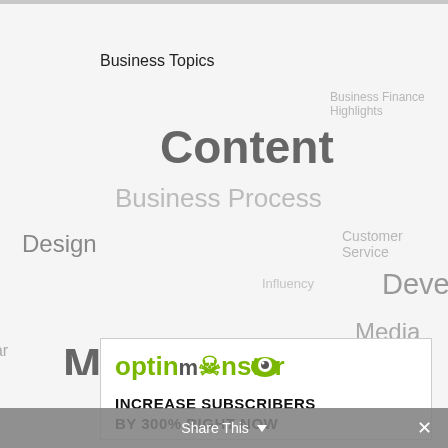Business Topics
[Figure (infographic): Word cloud showing business-related topics including: Business Finance Highlights, Content, Business Process, Design, Customer Service, Influency, Development, Media, Marketing, Search Optimization SEO]
[Figure (infographic): OptinMonster advertisement with logo and text: INCREASE SUBSCRIBERS BY 300% RIGHT NOW]
Share This
Share This ✕